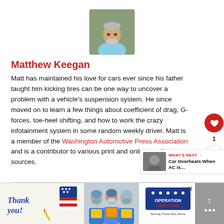[Figure (photo): Headshot photo of Matthew Keegan, an older man with short grey/white hair and a beard, wearing a light blue shirt, photographed outdoors]
Matthew Keegan
Matt has maintained his love for cars ever since his father taught him kicking tires can be one way to uncover a problem with a vehicle’s suspension system. He since moved on to learn a few things about coefficient of drag, G-forces, toe-heel shifting, and how to work the crazy infotainment system in some random weekly driver. Matt is a member of the Washington Automotive Press Association and is a contributor to various print and online media sources.
[Figure (photo): Advertisement banner: Operation Gratitude thank you card campaign. Shows 'Thank you!' handwritten text with US flag stars, healthcare workers holding packages, and the Operation Gratitude logo.]